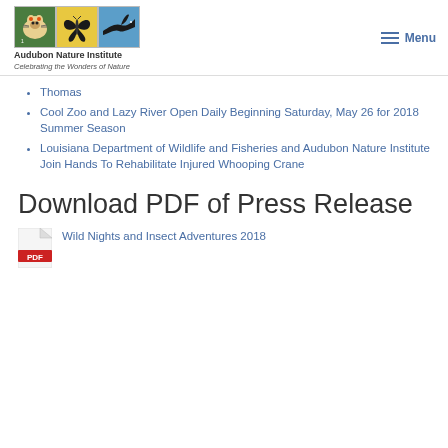Audubon Nature Institute — Celebrating the Wonders of Nature | Menu
Thomas
Cool Zoo and Lazy River Open Daily Beginning Saturday, May 26 for 2018 Summer Season
Louisiana Department of Wildlife and Fisheries and Audubon Nature Institute Join Hands To Rehabilitate Injured Whooping Crane
Download PDF of Press Release
Wild Nights and Insect Adventures 2018